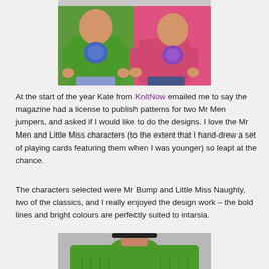[Figure (photo): Two children wearing knitted jumpers: one in green with Mr Bump character, one in pink with Little Miss Naughty character]
At the start of the year Kate from KnitNow emailed me to say the magazine had a license to publish patterns for two Mr Men jumpers, and asked if I would like to do the designs. I love the Mr Men and Little Miss characters (to the extent that I hand-drew a set of playing cards featuring them when I was younger) so leapt at the chance.
The characters selected were Mr Bump and Little Miss Naughty, two of the classics, and I really enjoyed the design work – the bold lines and bright colours are perfectly suited to intarsia.
[Figure (photo): Child wearing a green knitted jumper, partially visible from chest up]